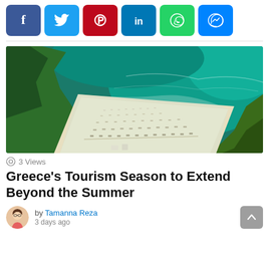[Figure (infographic): Social media share buttons: Facebook, Twitter, Pinterest, LinkedIn, WhatsApp, Messenger]
[Figure (photo): Aerial drone view of a Greek beach with turquoise water, white sand, beach umbrellas/loungers in rows, and green rocky coastline]
3 Views
Greece's Tourism Season to Extend Beyond the Summer
by Tamanna Reza
3 days ago